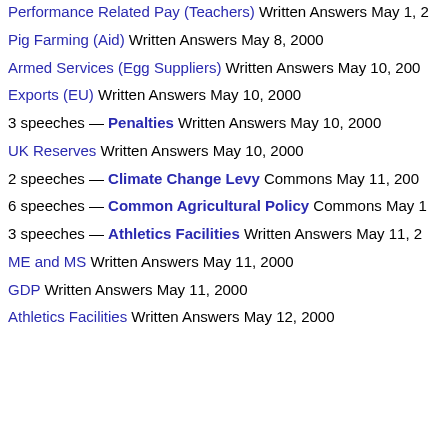Performance Related Pay (Teachers) Written Answers May 1, 2
Pig Farming (Aid) Written Answers May 8, 2000
Armed Services (Egg Suppliers) Written Answers May 10, 200
Exports (EU) Written Answers May 10, 2000
3 speeches — Penalties Written Answers May 10, 2000
UK Reserves Written Answers May 10, 2000
2 speeches — Climate Change Levy Commons May 11, 200
6 speeches — Common Agricultural Policy Commons May 1
3 speeches — Athletics Facilities Written Answers May 11, 2
ME and MS Written Answers May 11, 2000
GDP Written Answers May 11, 2000
Athletics Facilities Written Answers May 12, 2000